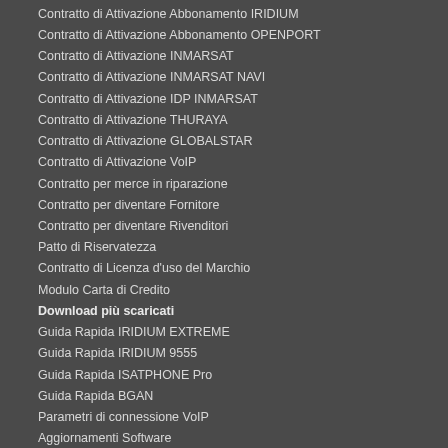Contratto di Attivazione Abbonamento IRIDIUM
Contratto di Attivazione Abbonamento OPENPORT
Contratto di Attivazione INMARSAT
Contratto di Attivazione INMARSAT NAVI
Contratto di Attivazione IDP INMARSAT
Contratto di Attivazione THURAYA
Contratto di Attivazione GLOBALSTAR
Contratto di Attivazione VoIP
Contratto per merce in riparazione
Contratto per diventare Fornitore
Contratto per diventare Rivenditori
Patto di Riservatezza
Contratto di Licenza d'uso del Marchio
Modulo Carta di Credito
Download più scaricati
Guida Rapida IRIDIUM EXTREME
Guida Rapida IRIDIUM 9555
Guida Rapida ISATPHONE Pro
Guida Rapida BGAN
Parametri di connessione VoIP
Aggiornamenti Software
Nuovi firmware Terminali
INMARSAT Land SARE